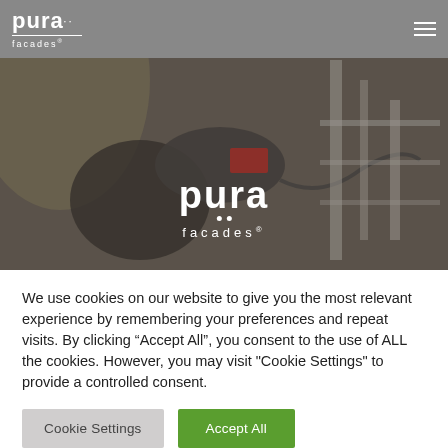[Figure (photo): Pura Facades website header with gray background showing the Pura Facades logo (white text) on the left and a hamburger menu icon on the right.]
[Figure (photo): Hero banner image showing a worker in a yellow safety vest using a power tool on a facade installation. Overlaid in the center of the image is the Pura Facades logo in white text with two dots beneath 'pura' and 'facades' in spaced lettering below.]
We use cookies on our website to give you the most relevant experience by remembering your preferences and repeat visits. By clicking “Accept All”, you consent to the use of ALL the cookies. However, you may visit "Cookie Settings" to provide a controlled consent.
Cookie Settings
Accept All